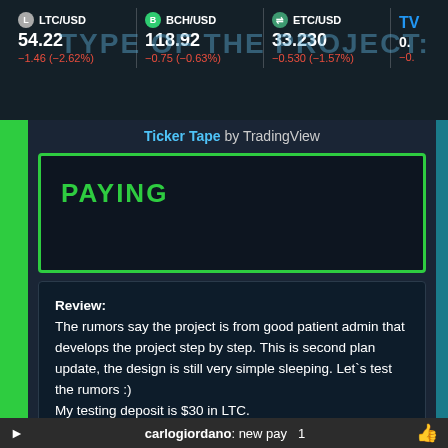[Figure (screenshot): Ticker bar showing cryptocurrency prices: LTC/USD 54.22 -1.46 (-2.62%), BCH/USD 118.92 -0.75 (-0.63%), ETC/USD 33.230 -0.530 (-1.57%), TV logo partial]
Ticker Tape by TradingView
PAYING
Review:
The rumors say the project is from good patient admin that develops the project step by step. This is second plan update, the design is still very simple sleeping. Let`s test the rumors :)
My testing deposit is $30 in LTC.
Pl
carlogiordano: new pay  1